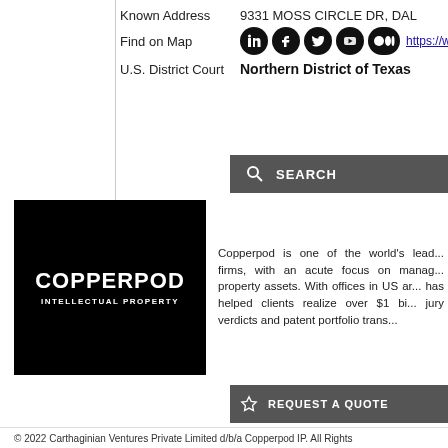Known Address   9331 MOSS CIRCLE DR, DAL
Find on Map   https://www.google.com/maps...
U.S. District Court   Northern District of Texas
[Figure (logo): Copperpod Intellectual Property logo — white text on black background]
Copperpod is one of the world's lead... firms, with an acute focus on manag... property assets. With offices in US ar... has helped clients realize over $1 bi... jury verdicts and patent portfolio trans...
© 2022 Carthaginian Ventures Private Limited d/b/a Copperpod IP. All Rights